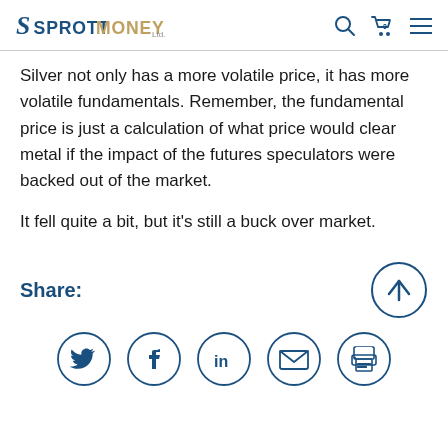SPROTT MONEY
Silver not only has a more volatile price, it has more volatile fundamentals. Remember, the fundamental price is just a calculation of what price would clear metal if the impact of the futures speculators were backed out of the market.
It fell quite a bit, but it's still a buck over market.
Share:
[Figure (infographic): Social share icons row: Twitter (bird), Facebook (f), LinkedIn (in), Email (envelope), Print (printer), and a scroll-to-top circular arrow button]